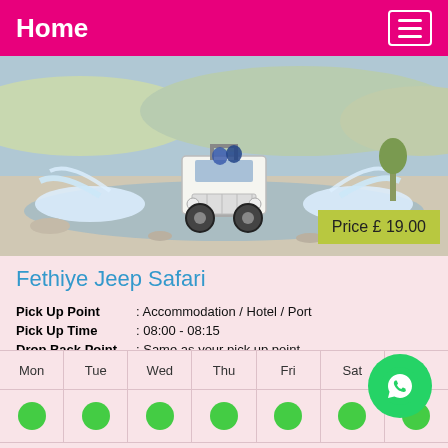Home
[Figure (photo): A white open-top jeep driving through a shallow rocky river, splashing water on both sides. Price badge reads: Price £ 19.00]
Fethiye Jeep Safari
| Pick Up Point | : Accommodation / Hotel / Port |
| Pick Up Time | : 08:00 - 08:15 |
| Drop Back Point | : Same as your pick up point. |
| Drop Back Time | : 18:00 - 18:15 |
| Mon | Tue | Wed | Thu | Fri | Sat | Sun |
| --- | --- | --- | --- | --- | --- | --- |
| ● | ● | ● | ● | ● | ● | ● |